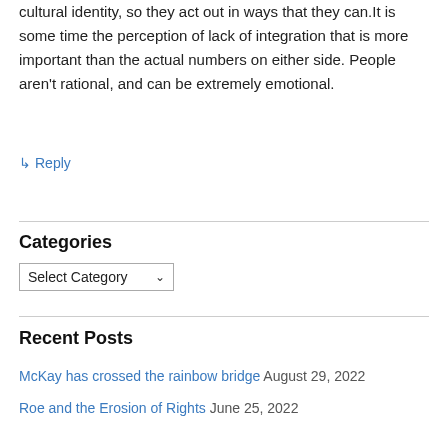cultural identity, so they act out in ways that they can.It is some time the perception of lack of integration that is more important than the actual numbers on either side. People aren't rational, and can be extremely emotional.
↳ Reply
Categories
Select Category
Recent Posts
McKay has crossed the rainbow bridge August 29, 2022
Roe and the Erosion of Rights June 25, 2022